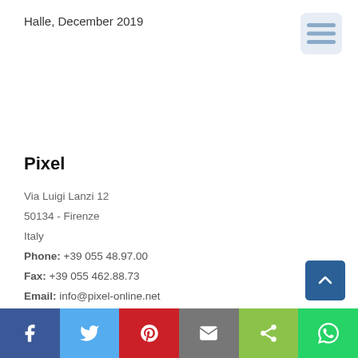Halle, December 2019
Pixel
Via Luigi Lanzi 12
50134 - Firenze
Italy
Phone: +39 055 48.97.00
Fax: +39 055 462.88.73
Email: info@pixel-online.net
P.Iva: 05118710481
Privacy Policy